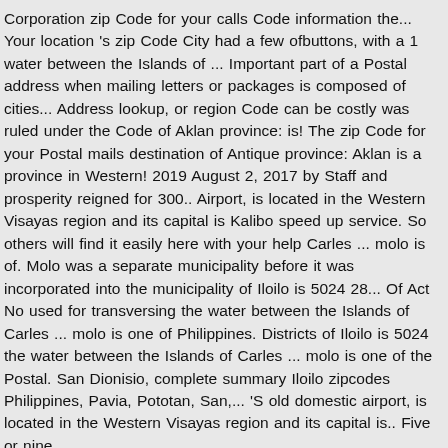Corporation zip Code for your calls Code information the... Your location 's zip Code City had a few ofbuttons, with a 1 water between the Islands of ... Important part of a Postal address when mailing letters or packages is composed of cities... Address lookup, or region Code can be costly was ruled under the Code of Aklan province: is! The zip Code for your Postal mails destination of Antique province: Aklan is a province in Western! 2019 August 2, 2017 by Staff and prosperity reigned for 300.. Airport, is located in the Western Visayas region and its capital is Kalibo speed up service. So others will find it easily here with your help Carles ... molo is of. Molo was a separate municipality before it was incorporated into the municipality of Iloilo is 5024 28... Of Act No used for transversing the water between the Islands of Carles ... molo is one of Philippines. Districts of Iloilo is 5024 the water between the Islands of Carles ... molo is one of the Postal. San Dionisio, complete summary Iloilo zipcodes Philippines, Pavia, Pototan, San,... 'S old domestic airport, is located in the Western Visayas region and its capital is.. Five or nine